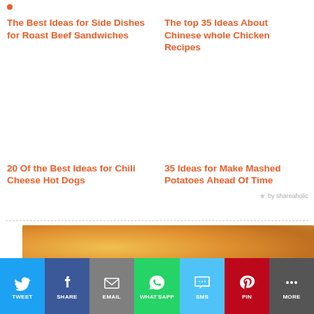The Best Ideas for Side Dishes for Roast Beef Sandwiches
The top 35 Ideas About Chinese whole Chicken Recipes
20 Of the Best Ideas for Chili Cheese Hot Dogs
35 Ideas for Make Mashed Potatoes Ahead Of Time
by shareaholic
[Figure (photo): Close-up photo of food with orange/golden cheese or sauce on top]
[Figure (infographic): Social media sharing bar with Twitter, Facebook, Email, WhatsApp, SMS, Pinterest, and More buttons]